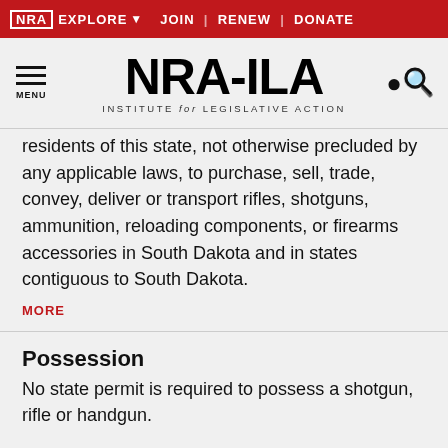NRA EXPLORE  JOIN | RENEW | DONATE
[Figure (logo): NRA-ILA Institute for Legislative Action logo with hamburger menu and search icon]
residents of this state, not otherwise precluded by any applicable laws, to purchase, sell, trade, convey, deliver or transport rifles, shotguns, ammunition, reloading components, or firearms accessories in South Dakota and in states contiguous to South Dakota.
MORE
Possession
No state permit is required to possess a shotgun, rifle or handgun.
MORE
Carrying